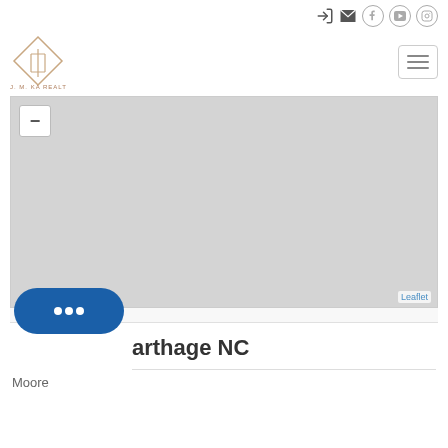Navigation bar with logo and social icons (login, mail, facebook, youtube, instagram)
[Figure (screenshot): Leaflet map placeholder showing a gray map area with zoom minus button in top-left and Leaflet attribution in bottom-right]
arthage NC
Moore